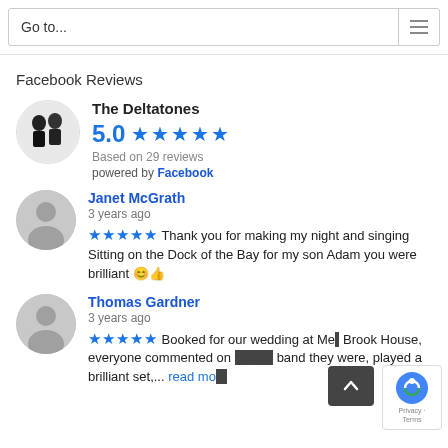Go to...
Facebook Reviews
[Figure (other): The Deltatones band photo - two men in suits, circular avatar]
The Deltatones
5.0 ★★★★★
Based on 29 reviews
powered by Facebook
[Figure (other): Generic user avatar circle icon for Janet McGrath]
Janet McGrath
3 years ago
★★★★★ Thank you for making my night and singing Sitting on the Dock of the Bay for my son Adam you were brilliant 😊👍
[Figure (other): Generic user avatar circle icon for Thomas Gardner]
Thomas Gardner
3 years ago
★★★★★ Booked for our wedding at Mer Brook House, everyone commented on what a band they were, played a brilliant set,... read more